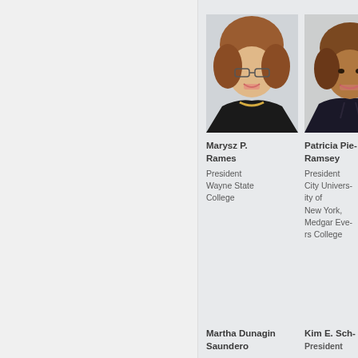[Figure (photo): Headshot of Marysz P. Rames, a woman with reddish-brown bob haircut, glasses, smiling, wearing dark blazer with yellow necklace]
[Figure (photo): Headshot of Patricia Pie Ramsey, a Black woman with short auburn hair, smiling, wearing dark blazer]
Marysz P. Rames
President
Wayne State College
Patricia Pie Ramsey
President
City University of New York, Medgar Evers College
Martha Dunagin Saunders
Kim E. Sch...
President